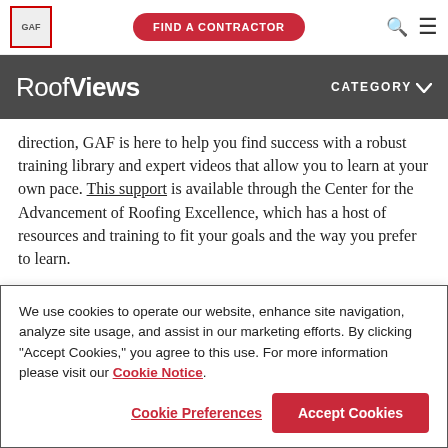GAF | FIND A CONTRACTOR
RoofViews  CATEGORY
direction, GAF is here to help you find success with a robust training library and expert videos that allow you to learn at your own pace. This support is available through the Center for the Advancement of Roofing Excellence, which has a host of resources and training to fit your goals and the way you prefer to learn.
We use cookies to operate our website, enhance site navigation, analyze site usage, and assist in our marketing efforts. By clicking "Accept Cookies," you agree to this use. For more information please visit our Cookie Notice.
Cookie Preferences   Accept Cookies